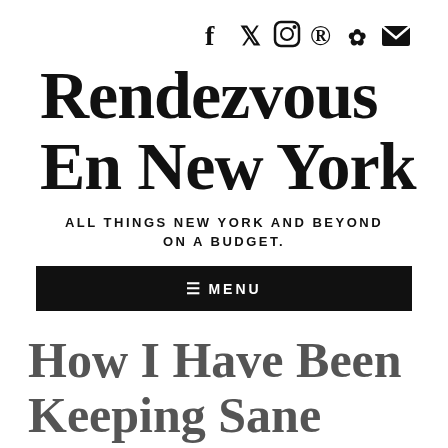f ✦ ◎ ⊕ ✿ ✉
Rendezvous En New York
ALL THINGS NEW YORK AND BEYOND ON A BUDGET.
≡ MENU
How I Have Been Keeping Sane While